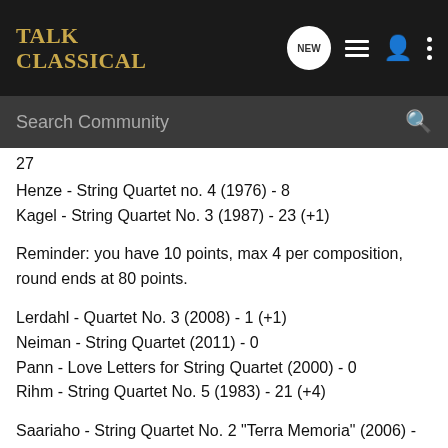Talk Classical
Search Community
27
Henze - String Quartet no. 4 (1976) - 8
Kagel - String Quartet No. 3 (1987) - 23 (+1)
Reminder: you have 10 points, max 4 per composition, round ends at 80 points.
Lerdahl - Quartet No. 3 (2008) - 1 (+1)
Neiman - String Quartet (2011) - 0
Pann - Love Letters for String Quartet (2000) - 0
Rihm - String Quartet No. 5 (1983) - 21 (+4)
Saariaho - String Quartet No. 2 "Terra Memoria" (2006) - 20 (+1)
Shostakovich - String Quartet No. 15 (1974) - 25
Tower - String Quartet No. 4 (2011) - 7